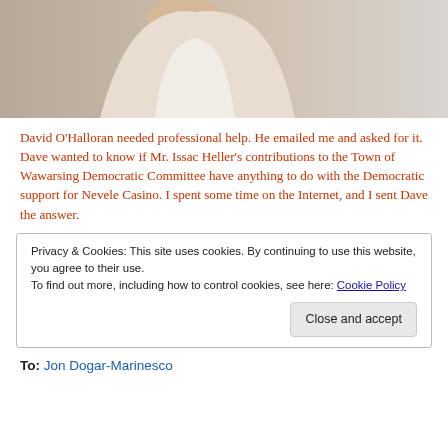[Figure (photo): Partial photo of a man in a white shirt, upper body visible, cropped at the top of the page. Background fades to light grey.]
David O'Halloran needed professional help. He emailed me and asked for it. Dave wanted to know if Mr. Issac Heller's contributions to the Town of Wawarsing Democratic Committee have anything to do with the Democratic support for Nevele Casino. I spent some time on the Internet, and I sent Dave the answer.
Privacy & Cookies: This site uses cookies. By continuing to use this website, you agree to their use.
To find out more, including how to control cookies, see here: Cookie Policy
Close and accept
To: Jon Dogar-Marinesco